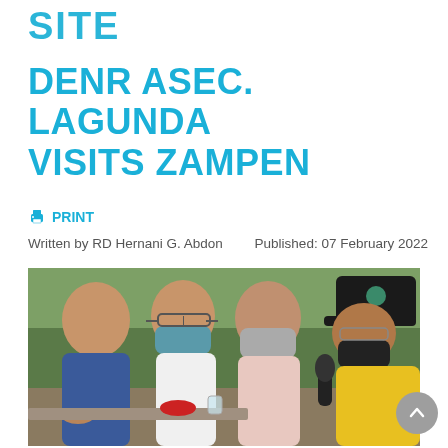SITE
DENR ASEC. LAGUNDA VISITS ZAMPEN
PRINT
Written by RD Hernani G. Abdon    Published: 07 February 2022
[Figure (photo): Four people seated outdoors, three wearing face masks, one woman in a black cap and yellow shirt holding a microphone, others in casual attire with green trees in background]